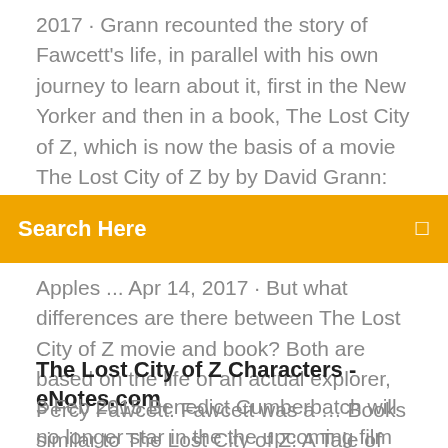2017 · Grann recounted the story of Fawcett's life, in parallel with his own journey to learn about it, first in the New Yorker and then in a book, The Lost City of Z, which is now the basis of a movie The Lost City of Z by by David Grann: Summary and reviews David Grann's The Lost City of Z is a deeply satisfying revelation - a look into the life and times of one of the last great
Search Here
Apples ... Apr 14, 2017 · But what differences are there between The Lost City of Z movie and book? Both are based on the life of an actual explorer, Percy Fawcett. Fawcett was a … Books similar to The Lost City of Z: A Tale of Deadly ...
The Lost City of Z Characters - eNotes.com
3 Feb 2015 Benedict Cumberbatch will no longer star in the the upcoming film The Lost City of Z, after being replaced by Charlie Hunnam. Doctor Strange in the hotly anticipated Marvel comic book film. Mirror Online. 2days ago. 'The Lost City of Z' valot hot